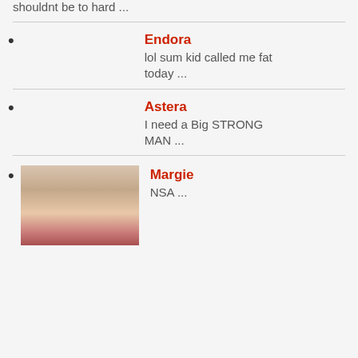shouldnt be to hard ...
Endora
lol sum kid called me fat today ...
Astera
I need a Big STRONG MAN ...
Margie
NSA ...